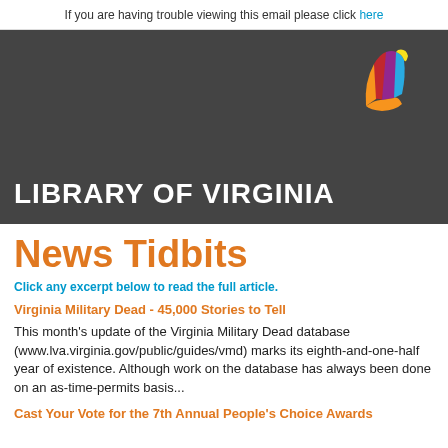If you are having trouble viewing this email please click here
[Figure (logo): Library of Virginia logo — colorful open book icon (orange, red, purple, teal, yellow pages) above white bold text LIBRARY OF VIRGINIA on dark gray background]
News Tidbits
Click any excerpt below to read the full article.
Virginia Military Dead - 45,000 Stories to Tell
This month's update of the Virginia Military Dead database (www.lva.virginia.gov/public/guides/vmd) marks its eighth-and-one-half year of existence. Although work on the database has always been done on an as-time-permits basis...
Cast Your Vote for the 7th Annual People's Choice Awards